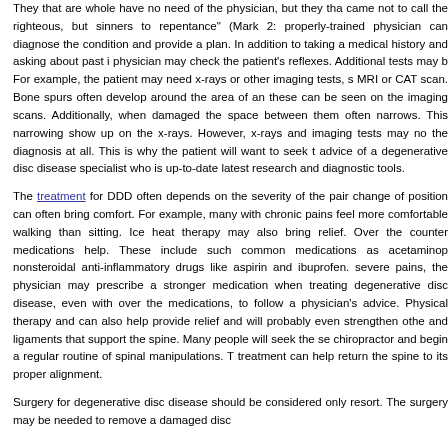They that are whole have no need of the physician, but they that came not to call the righteous, but sinners to repentance" (Mark 2: properly-trained physician can diagnose the condition and provide a plan. In addition to taking a medical history and asking about past i physician may check the patient's reflexes. Additional tests may b For example, the patient may need x-rays or other imaging tests, s MRI or CAT scan. Bone spurs often develop around the area of an these can be seen on the imaging scans. Additionally, whe damaged the space between them often narrows. This narrowing show up on the x-rays. However, x-rays and imaging tests may no the diagnosis at all. This is why the patient will want to seek t advice of a degenerative disc disease specialist who is up-to-date latest research and diagnostic tools.
The treatment for DDD often depends on the severity of the pai change of position can often bring comfort. For example, many with chronic pains feel more comfortable walking than sitting. Ic heat therapy may also bring relief. Over the counter medications help. These include such common medications as acetamino nonsteroidal anti-inflammatory drugs like aspirin and ibuprofen. severe pains, the physician may prescribe a stronger medication when treating degenerative disc disease, even with over th medications, to follow a physician's advice. Physical therapy and can also help provide relief and will probably even strengthen oth and ligaments that support the spine. Many people will seek the s chiropractor and begin a regular routine of spinal manipulations. T treatment can help return the spine to its proper alignment.
Surgery for degenerative disc disease should be considered only resort. The surgery may be needed to remove a damaged disc